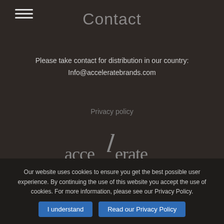Contact
Please take contact for distribution in our country:
Info@acceleratebrands.com
Privacy policy
[Figure (logo): Accelerate Brands logo with stylized italic 'l' and horizontal rule above 'BRANDS' text]
Our website uses cookies to ensure you get the best possible user experience. By continuing the use of this website you accept the use of cookies. For more information, please see our Privacy Policy.
I understand
Read our Privacy Policy